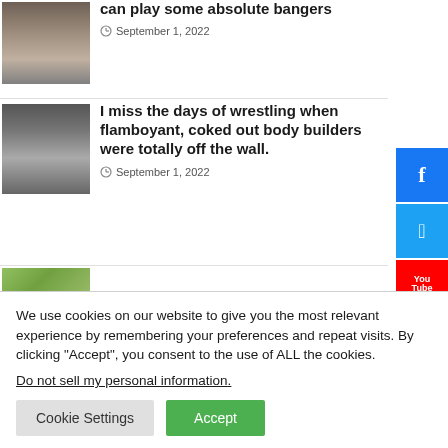can play some absolute bangers
September 1, 2022
I miss the days of wrestling when flamboyant, coked out body builders were totally off the wall.
September 1, 2022
We use cookies on our website to give you the most relevant experience by remembering your preferences and repeat visits. By clicking “Accept”, you consent to the use of ALL the cookies.
Do not sell my personal information.